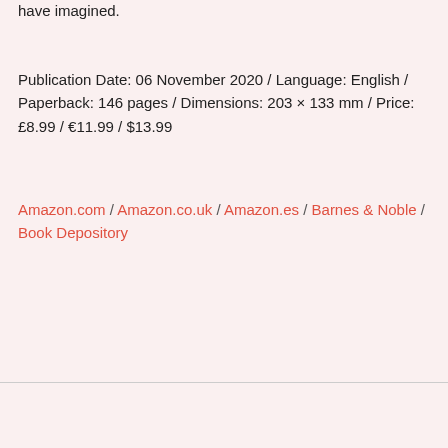have imagined.
Publication Date: 06 November 2020 / Language: English / Paperback: 146 pages / Dimensions: 203 × 133 mm / Price: £8.99 / €11.99 / $13.99
Amazon.com / Amazon.co.uk / Amazon.es / Barnes & Noble / Book Depository